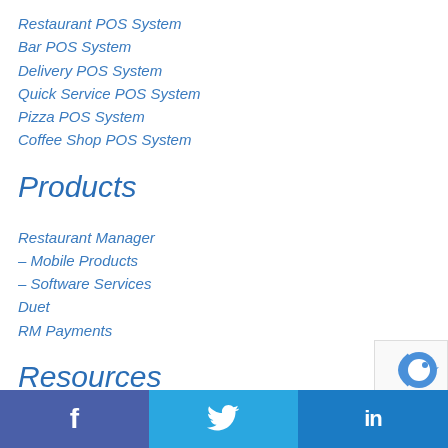Restaurant POS System
Bar POS System
Delivery POS System
Quick Service POS System
Pizza POS System
Coffee Shop POS System
Products
Restaurant Manager
– Mobile Products
– Software Services
Duet
RM Payments
Resources
Press Releases
[Figure (logo): reCAPTCHA logo badge (partial, bottom-right corner)]
Social media links: Facebook, Twitter, LinkedIn